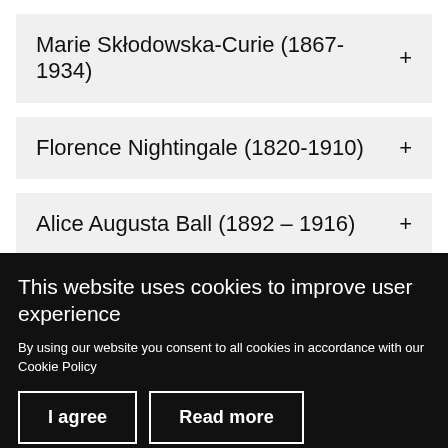Marie Skłodowska-Curie (1867-1934)
Florence Nightingale (1820-1910)
Alice Augusta Ball (1892 – 1916)
[Figure (photo): Night-time photograph of a building with a circular London museum logo in the foreground]
This website uses cookies to improve user experience
By using our website you consent to all cookies in accordance with our Cookie Policy
I agree
Read more